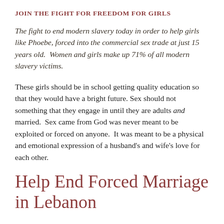JOIN THE FIGHT FOR FREEDOM FOR GIRLS
The fight to end modern slavery today in order to help girls like Phoebe, forced into the commercial sex trade at just 15 years old.  Women and girls make up 71% of all modern slavery victims.
These girls should be in school getting quality education so that they would have a bright future. Sex should not something that they engage in until they are adults and married.  Sex came from God was never meant to be exploited or forced on anyone.  It was meant to be a physical and emotional expression of a husband's and wife's love for each other.
Help End Forced Marriage in Lebanon